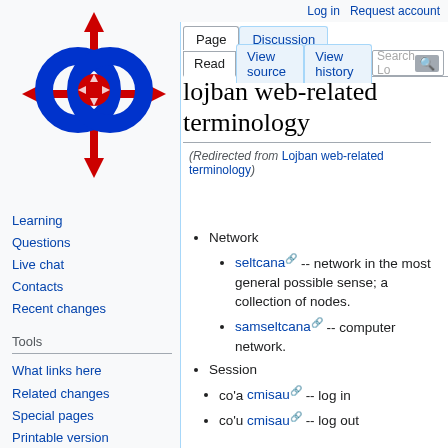Log in   Request account
[Figure (logo): Lojban wiki logo: two blue interlocking rings with red arrows pointing in four directions]
Learning
Questions
Live chat
Contacts
Recent changes
Tools
What links here
Related changes
Special pages
Printable version
Permanent link
Page information
lojban web-related terminology
(Redirected from Lojban web-related terminology)
Network
seltcana -- network in the most general possible sense; a collection of nodes.
samseltcana -- computer network.
Session
co'a cmisau -- log in
co'u cmisau -- log out